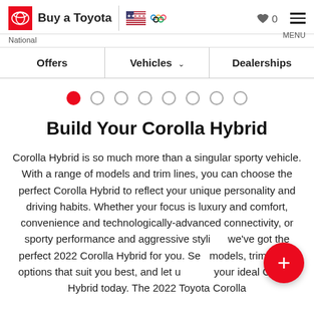Buy a Toyota | National
Offers | Vehicles | Dealerships
[Figure (other): Slideshow pagination dots, 8 dots total, first dot filled red]
Build Your Corolla Hybrid
Corolla Hybrid is so much more than a singular sporty vehicle. With a range of models and trim lines, you can choose the perfect Corolla Hybrid to reflect your unique personality and driving habits. Whether your focus is luxury and comfort, convenience and technologically-advanced connectivity, or sporty performance and aggressive styling, we've got the perfect 2022 Corolla Hybrid for you. See models, trims, and options that suit you best, and let us build your ideal Corolla Hybrid today. The 2022 Toyota Corolla